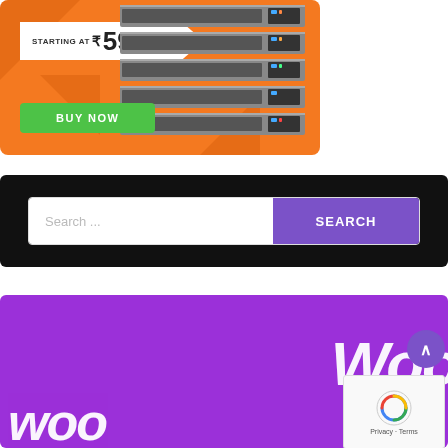[Figure (infographic): Orange hosting advertisement banner showing server rack image, price tag 'STARTING AT ₹59/mo' and green BUY NOW button]
[Figure (screenshot): Black search bar with white text input placeholder 'Search ...' and purple SEARCH button]
[Figure (infographic): Purple WooCommerce advertisement banner with cat/ninja logo icon and large 'Woo' text]
[Figure (infographic): reCAPTCHA badge with Privacy and Terms links]